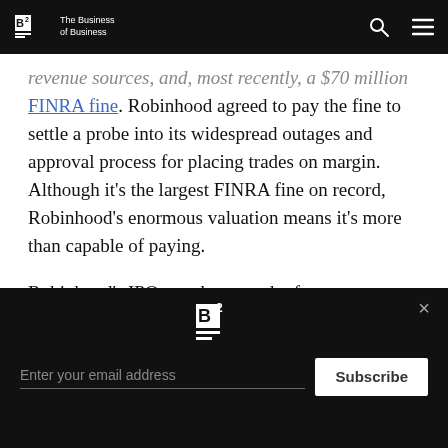B2 The Business of Business [nav bar with search and menu icons]
revenue sources, and, most recently, a $70 million FINRA fine. Robinhood agreed to pay the fine to settle a probe into its widespread outages and approval process for placing trades on margin. Although it's the largest FINRA fine on record, Robinhood's enormous valuation means it's more than capable of paying.
Robinhood's IPO may be enough of a success to put it back in public favor, but the company doesn't have to worry about a lack of users. While monthly active users skyrocketed in February during the memestock craze and dipped back down, the overall number as of Q1 is
B2 logo | Enter your email address | Subscribe